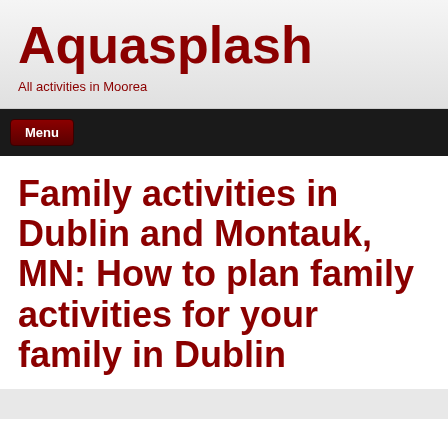Aquasplash
All activities in Moorea
Menu
Family activities in Dublin and Montauk, MN: How to plan family activities for your family in Dublin